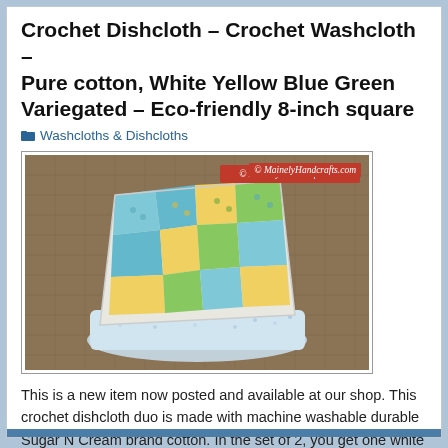Crochet Dishcloth – Crochet Washcloth – Pure cotton, White Yellow Blue Green Variegated – Eco-friendly 8-inch square
Washcloths & Dishcloths
[Figure (photo): Two crocheted dishcloths in variegated yellow, blue, green, and white colors folded and stacked on a burlap background. Watermark reads: MainelyHandcrafts.com]
This is a new item now posted and available at our shop. This crochet dishcloth duo is made with machine washable durable Sugar N Cream brand cotton. In the set of 2, you get one white with summery fleck called Summer Prints and one pretty variegated of yellows, blue, greens, and white called Sunny Sky. [...]